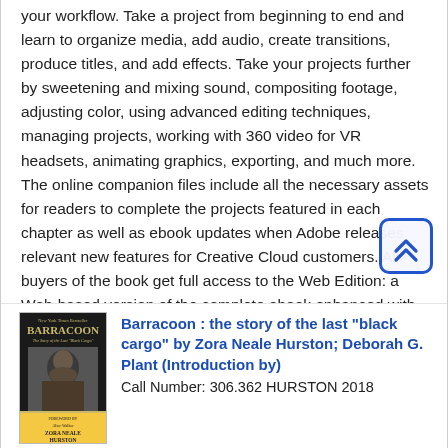your workflow. Take a project from beginning to end and learn to organize media, add audio, create transitions, produce titles, and add effects. Take your projects further by sweetening and mixing sound, compositing footage, adjusting color, using advanced editing techniques, managing projects, working with 360 video for VR headsets, animating graphics, exporting, and much more. The online companion files include all the necessary assets for readers to complete the projects featured in each chapter as well as ebook updates when Adobe releases relevant new features for Creative Cloud customers. All buyers of the book get full access to the Web Edition: a Web-based version of the complete ebook enhanced with video and multiple-choice quizzes.
[Figure (other): Scroll-to-top button with double chevron up arrow icon, blue border, rounded rectangle]
[Figure (illustration): Book cover for Barracoon: The Story of the Last Black Cargo by Zora Neale Hurston, showing a portrait photo]
Barracoon : the story of the last "black cargo" by Zora Neale Hurston; Deborah G. Plant (Introduction by)
Call Number: 306.362 HURSTON 2018